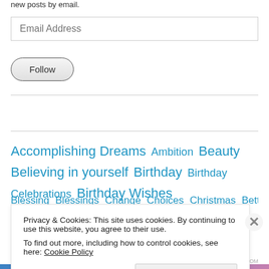new posts by email.
Email Address
Follow
Accomplishing Dreams  Ambition  Beauty  Believing in yourself  Birthday  Birthday Celebrations  Birthday Wishes  [partially visible tags]
Privacy & Cookies: This site uses cookies. By continuing to use this website, you agree to their use.
To find out more, including how to control cookies, see here: Cookie Policy
Close and accept